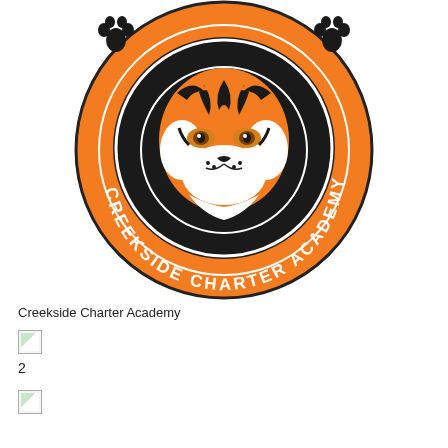[Figure (logo): Creekside Charter Academy circular logo with orange and black color scheme featuring a tiger mascot face in the center, paw prints at top left and right, and the text 'CREEKSIDE CHARTER ACADEMY' around the bottom arc in white letters on orange background]
Creekside Charter Academy
[Figure (other): Broken image placeholder (small icon)]
2
[Figure (other): Broken image placeholder (small icon)]